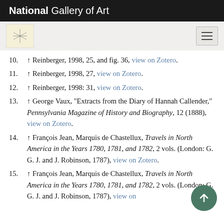National Gallery of Art
10. ↑ Reinberger, 1998, 25, and fig. 36, view on Zotero.
11. ↑ Reinberger, 1998, 27, view on Zotero.
12. ↑ Reinberger, 1998: 31, view on Zotero.
13. ↑ George Vaux, "Extracts from the Diary of Hannah Callender," Pennsylvania Magazine of History and Biography, 12 (1888), view on Zotero.
14. ↑ François Jean, Marquis de Chastellux, Travels in North America in the Years 1780, 1781, and 1782, 2 vols. (London: G. G. J. and J. Robinson, 1787), view on Zotero.
15. ↑ François Jean, Marquis de Chastellux, Travels in North America in the Years 1780, 1781, and 1782, 2 vols. (London: G. G. J. and J. Robinson, 1787), view on